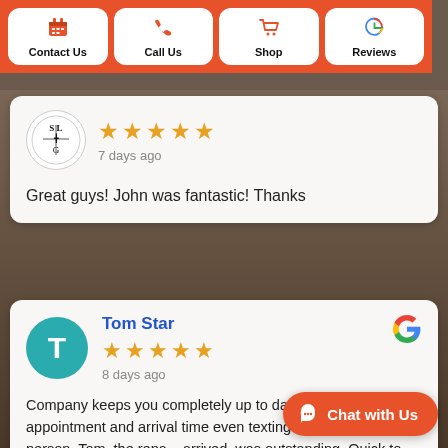Contact Us | Call Us | Shop | Reviews
[Figure (screenshot): Review card 1: STLG logo, 5-star rating, 7 days ago, review text: Great guys! John was fantastic! Thanks]
Great guys! John was fantastic! Thanks
[Figure (screenshot): Review card 2: Tom Star, teal avatar with T, 5-star rating, 8 days ago, Google logo, review text beginning: Company keeps you completely up to date regards appointment and arrival time even texting a pic of your repair person. Tom, the repa... arrived, was outstanding. Quick to diagnose the]
Company keeps you completely up to date regards appointment and arrival time even texting a pic of your repair person. Tom, the repa... arrived, was outstanding. Quick to diagnose the